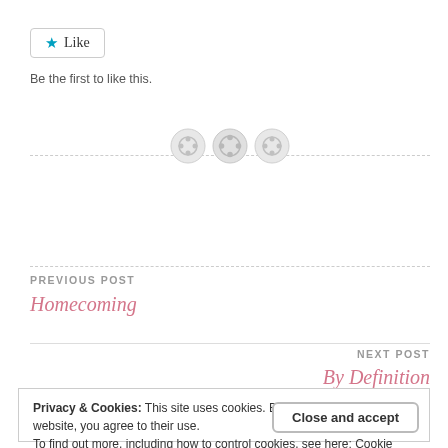[Figure (other): Like button with star icon and text 'Like', followed by 'Be the first to like this.' subtext]
Be the first to like this.
[Figure (illustration): Three decorative button icons on a dashed horizontal divider line]
PREVIOUS POST
Homecoming
NEXT POST
By Definition
Privacy & Cookies: This site uses cookies. By continuing to use this website, you agree to their use.
To find out more, including how to control cookies, see here: Cookie Policy
Close and accept